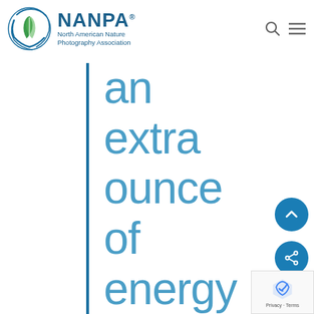[Figure (logo): NANPA – North American Nature Photography Association logo with circular emblem and text]
an extra ounce of energy
[Figure (other): Scroll-to-top arrow button (teal circle with upward chevron)]
[Figure (other): Share button (teal circle with share icon)]
[Figure (other): Google reCAPTCHA badge with Privacy and Terms links]